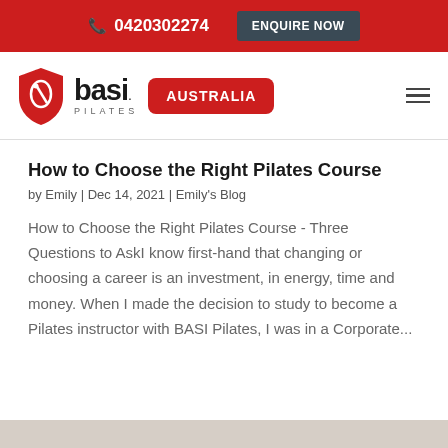0420302274  ENQUIRE NOW
[Figure (logo): BASI Pilates Australia logo with red shield icon, bold 'basi.' text, 'PILATES' in small caps, and 'AUSTRALIA' in a red rounded badge]
How to Choose the Right Pilates Course
by Emily | Dec 14, 2021 | Emily's Blog
How to Choose the Right Pilates Course - Three Questions to AskI know first-hand that changing or choosing a career is an investment, in energy, time and money. When I made the decision to study to become a Pilates instructor with BASI Pilates, I was in a Corporate...